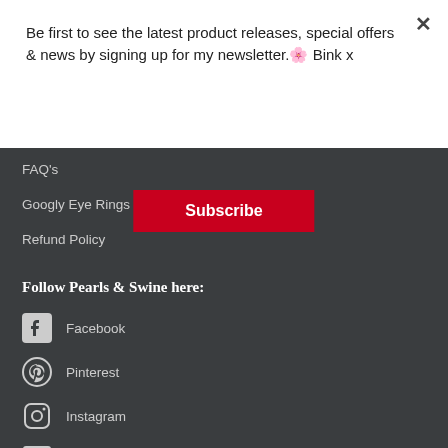Be first to see the latest product releases, special offers & news by signing up for my newsletter.🌸 Bink x
Subscribe
FAQ's
Googly Eye Rings
Refund Policy
Follow Pearls & Swine here:
Facebook
Pinterest
Instagram
Email